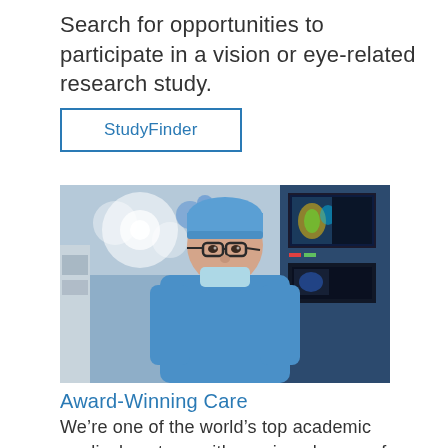Search for opportunities to participate in a vision or eye-related research study.
StudyFinder
[Figure (photo): A surgeon wearing blue scrubs and a surgical cap with glasses, standing in an operating room with medical equipment and monitors in the background.]
Award-Winning Care
We’re one of the world’s top academic medical centers, with a unique legacy of innovation in patient care and